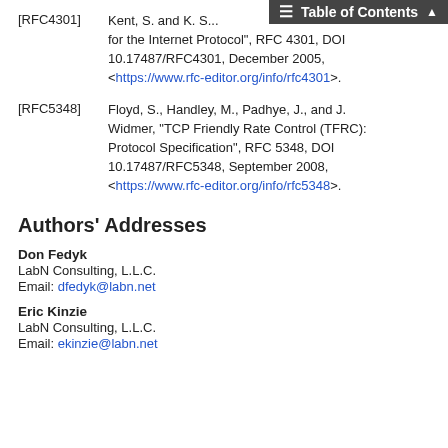[RFC4301] Kent, S. and K. S... for the Internet Protocol", RFC 4301, DOI 10.17487/RFC4301, December 2005, <https://www.rfc-editor.org/info/rfc4301>.
[RFC5348] Floyd, S., Handley, M., Padhye, J., and J. Widmer, "TCP Friendly Rate Control (TFRC): Protocol Specification", RFC 5348, DOI 10.17487/RFC5348, September 2008, <https://www.rfc-editor.org/info/rfc5348>.
Authors' Addresses
Don Fedyk
LabN Consulting, L.L.C.
Email: dfedyk@labn.net
Eric Kinzie
LabN Consulting, L.L.C.
Email: ekinzie@labn.net